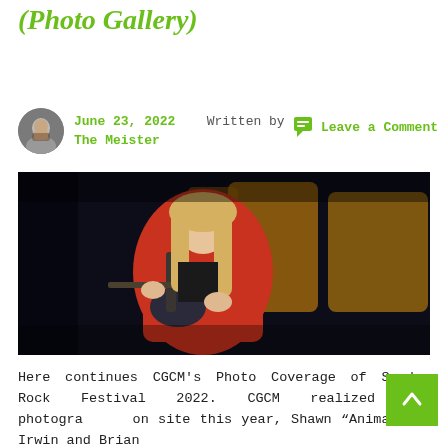(Photo Gallery)
June 23, 2022   Written by The Meister
Leave a Comment
[Figure (photo): A guitarist with long blond hair wearing a red leather jacket playing guitar on stage in front of a dark banner with gold lettering]
Here continues CGCM's Photo Coverage of Sweden Rock Festival 2022. CGCM realized two photographers on site this year, Shawn "Animalize" Irwin and Brian